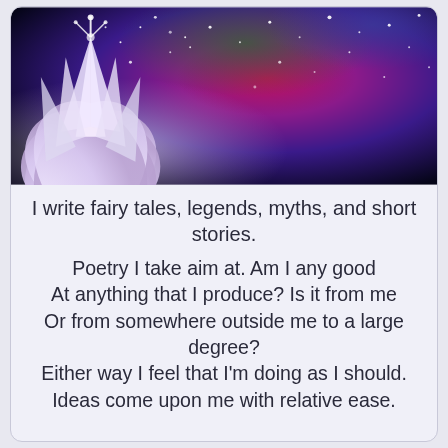[Figure (illustration): Fantasy image showing a glowing white crystal lotus flower on the left against a colorful cosmic nebula background with purples, reds, greens and sparkling stars]
I write fairy tales, legends, myths, and short stories.
Poetry I take aim at. Am I any good
At anything that I produce? Is it from me
Or from somewhere outside me to a large degree?
Either way I feel that I’m doing as I should.
Ideas come upon me with relative ease.

Anapestic tetrameter fascinates me.
I can conquer the rhythm when I’m at my best.